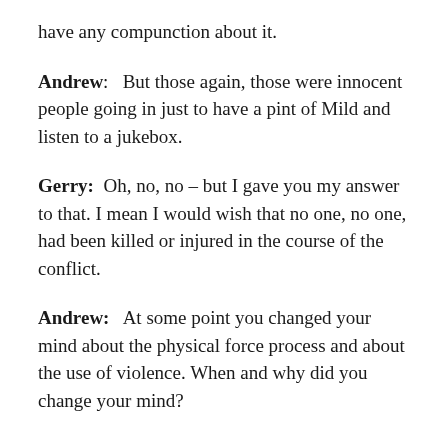have any compunction about it.
Andrew:   But those again, those were innocent people going in just to have a pint of Mild and listen to a jukebox.
Gerry:  Oh, no, no – but I gave you my answer to that. I mean I would wish that no one, no one, had been killed or injured in the course of the conflict.
Andrew:   At some point you changed your mind about the physical force process and about the use of violence. When and why did you change your mind?